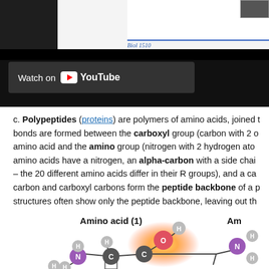[Figure (screenshot): Screenshot of a video player showing 'Biol 1510' label and a 'Watch on YouTube' overlay button on a dark background.]
c. Polypeptides (proteins) are polymers of amino acids, joined to... bonds are formed between the carboxyl group (carbon with 2 o... amino acid and the amino group (nitrogen with 2 hydrogen ato... amino acids have a nitrogen, an alpha-carbon with a side chai... – the 20 different amino acids differ in their R groups), and a c... carbon and carboxyl carbons form the peptide backbone of a p... structures often show only the peptide backbone, leaving out th...
[Figure (illustration): Molecular illustration of amino acids showing labeled atoms (H, O, N, C) connected by bonds, with 'Amino acid (1)' label visible and partial second amino acid label 'Am...' at right edge. A yellow/orange glow highlights the area between the two amino acids.]